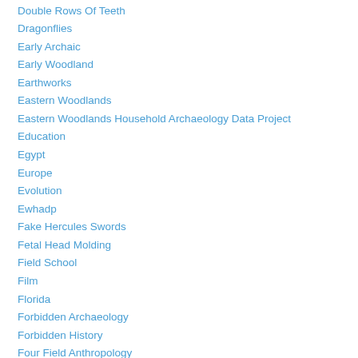Double Rows Of Teeth
Dragonflies
Early Archaic
Early Woodland
Earthworks
Eastern Woodlands
Eastern Woodlands Household Archaeology Data Project
Education
Egypt
Europe
Evolution
Ewhadp
Fake Hercules Swords
Fetal Head Molding
Field School
Film
Florida
Forbidden Archaeology
Forbidden History
Four Field Anthropology
Four-field Anthropology